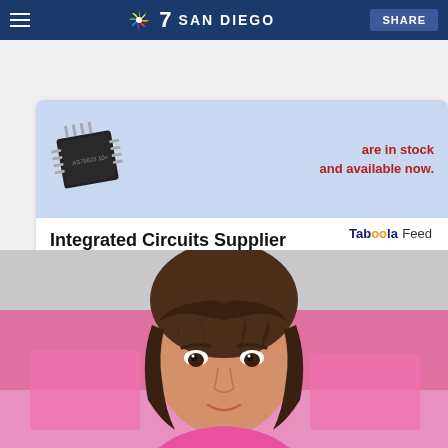7 SAN DIEGO  SHARE
[Figure (infographic): Advertisement for Kynix integrated circuits supplier. Shows a chip image against light blue background with text 'are in stock and available now.' in red. Below is bold text 'Integrated Circuits Supplier', then 'Kynix' on left and 'Get Quote >' in blue on right.]
Taboola Feed
[Figure (photo): Photo of a young woman with dark hair in a loose updo with bangs, wearing a pink top, photographed against a pink background. She is looking directly at the camera with a slight smile.]